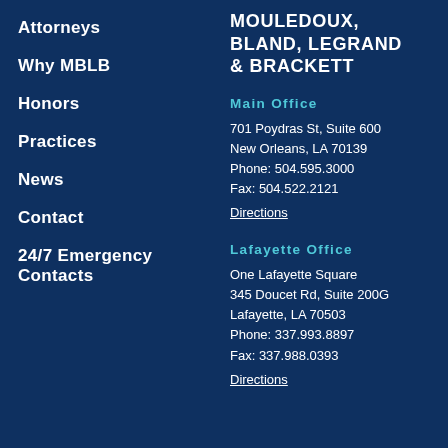Attorneys
Why MBLB
Honors
Practices
News
Contact
24/7 Emergency Contacts
MOULEDOUX, BLAND, LEGRAND & BRACKETT
Main Office
701 Poydras St, Suite 600
New Orleans, LA 70139
Phone: 504.595.3000
Fax: 504.522.2121
Directions
Lafayette Office
One Lafayette Square
345 Doucet Rd, Suite 200G
Lafayette, LA 70503
Phone: 337.993.8897
Fax: 337.988.0393
Directions